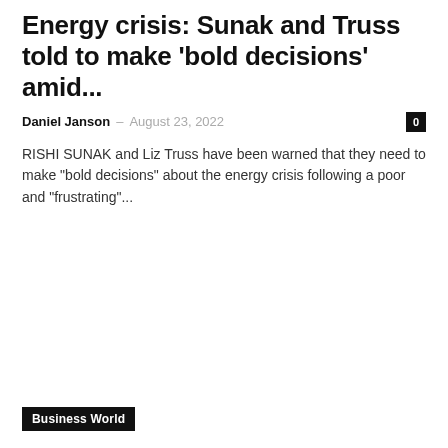Energy crisis: Sunak and Truss told to make 'bold decisions' amid...
Daniel Janson – August 23, 2022
RISHI SUNAK and Liz Truss have been warned that they need to make "bold decisions" about the energy crisis following a poor and "frustrating"...
Business World
'Immediately slash energy prices!' Ofgem warned million Britons to revolt in...